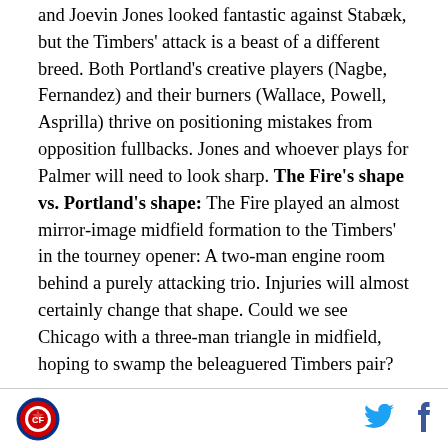and Joevin Jones looked fantastic against Stabæk, but the Timbers' attack is a beast of a different breed. Both Portland's creative players (Nagbe, Fernandez) and their burners (Wallace, Powell, Asprilla) thrive on positioning mistakes from opposition fullbacks. Jones and whoever plays for Palmer will need to look sharp. The Fire's shape vs. Portland's shape: The Fire played an almost mirror-image midfield formation to the Timbers' in the tourney opener: A two-man engine room behind a purely attacking trio. Injuries will almost certainly change that shape. Could we see Chicago with a three-man triangle in midfield, hoping to swamp the beleaguered Timbers pair?
What I'll be watching for
[Figure (logo): Chicago Fire circular logo with red and white design]
[Figure (logo): Twitter bird icon]
[Figure (logo): Facebook f icon]